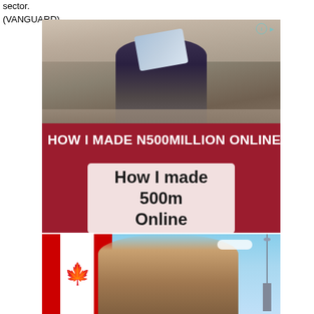sector.
(VANGUARD)
[Figure (photo): Advertisement image showing a person carrying a sign/board, with banner text 'HOW I MADE N500MILLION ONLINE' and a card showing 'How I made 500m Online' on dark red background]
[Figure (photo): Advertisement image showing a smiling couple in front of a Canadian flag and the CN Tower in Toronto]